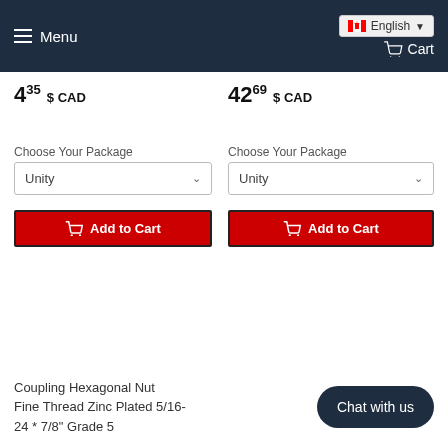Menu | English | Cart
4.35 $ CAD
42.69 $ CAD
Choose Your Package
Choose Your Package
Unity
Unity
Add to Cart
Add to Cart
Coupling Hexagonal Nut Fine Thread Zinc Plated 5/16-24 * 7/8" Grade 5
Chat with us